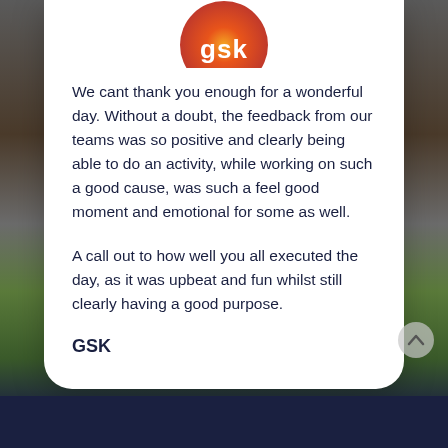[Figure (logo): GSK logo — orange/red gradient circle with white 'gsk' text, partially visible at top of white card]
We cant thank you enough for a wonderful day. Without a doubt, the feedback from our teams was so positive and clearly being able to do an activity, while working on such a good cause, was such a feel good moment and emotional for some as well.
A call out to how well you all executed the day, as it was upbeat and fun whilst still clearly having a good purpose.
GSK